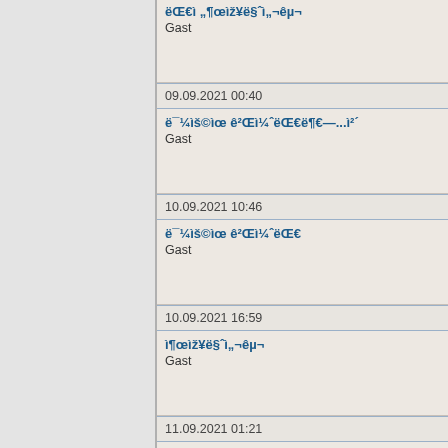| ëŒ€ì „¶œìž¥ë§ˆì„¬êµ¬ | Gast |
| 09.09.2021 00:40 |  |
| ë¯¼ìš©ìœ ê²Œì¼ˆëŒ€ë¶€—...ì²´ | Gast |
| 10.09.2021 10:46 |  |
| ë¯¼ìš©ìœ ê²Œì¼ˆëŒ€ | Gast |
| 10.09.2021 16:59 |  |
| ì¶œìž¥ë§ˆì„¬êµ¬ | Gast |
| 11.09.2021 01:21 |  |
| ë¯¼ìš©Šì„¬ì·¨ˆìš | Gast |